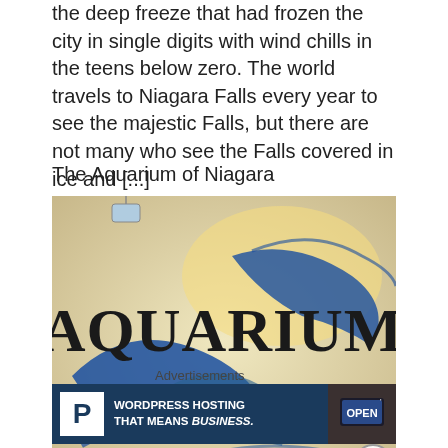the deep freeze that had frozen the city in single digits with wind chills in the teens below zero. The world travels to Niagara Falls every year to see the majestic Falls, but there are not many who see the Falls covered in ice and [...]
The Aquarium of Niagara
[Figure (photo): Photo of the Aquarium of Niagara sign/logo — large stylized text reading AQUARIUM OF NIAGARA with blue decorative swoosh/fish design on a light background]
Advertisements
[Figure (other): Advertisement banner: WordPress Hosting That Means BUSINESS. with a P logo box on the left and an OPEN sign photo on the right on a dark blue background]